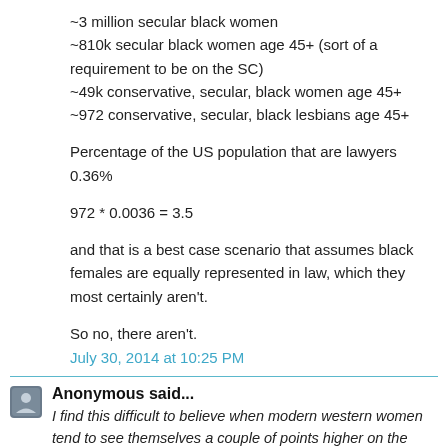~3 million secular black women
~810k secular black women age 45+ (sort of a requirement to be on the SC)
~49k conservative, secular, black women age 45+
~972 conservative, secular, black lesbians age 45+
Percentage of the US population that are lawyers 0.36%
and that is a best case scenario that assumes black females are equally represented in law, which they most certainly aren't.
So no, there aren't.
July 30, 2014 at 10:25 PM
Anonymous said...
I find this difficult to believe when modern western women tend to see themselves a couple of points higher on the SMV then they really are. Plus I have rarely seen an